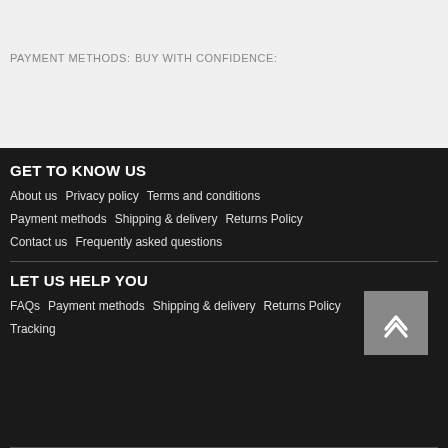PAYMENT METHODS:
BUY WITH CONFIDENCE:
GET TO KNOW US
About us   Privacy policy   Terms and conditions
Payment methods   Shipping & delivery   Returns Policy
Contact us   Frequently asked questions
LET US HELP YOU
FAQs   Payment methods   Shipping & delivery   Returns Policy
Tracking